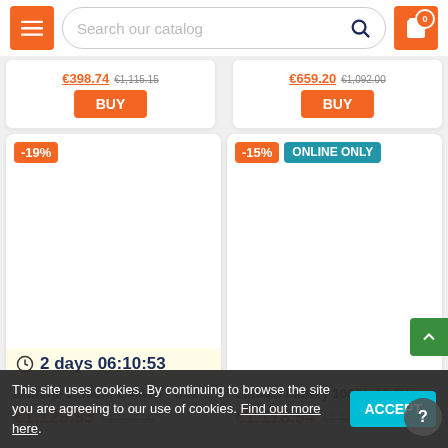Search our catalog
[Figure (screenshot): Top row of two product cards partially visible showing prices and BUY buttons]
[Figure (screenshot): Product card left: -19% badge, countdown timer '2 days 06:10:53', product name 'Batterie Lithium 2.4kWh - US2...', price €1,129.95 was €1,395.00]
[Figure (screenshot): Product card right: -15% badge, ONLINE ONLY badge, product name 'Lithium battery 100Ah 12.8V - ...', price €1,118.94 was €1,316.40]
This site uses cookies. By continuing to browse the site you are agreeing to our use of cookies. Find out more here.